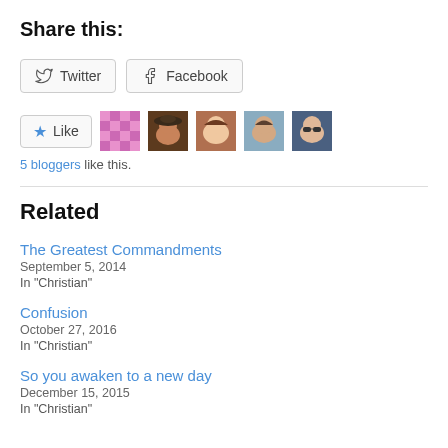Share this:
Twitter  Facebook (share buttons)
Like  5 bloggers like this.
Related
The Greatest Commandments
September 5, 2014
In "Christian"
Confusion
October 27, 2016
In "Christian"
So you awaken to a new day
December 15, 2015
In "Christian"